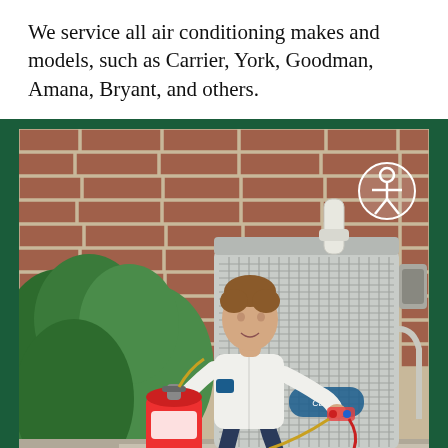We service all air conditioning makes and models, such as Carrier, York, Goodman, Amana, Bryant, and others.
[Figure (photo): A male HVAC technician in a white uniform shirt crouches beside a large Carrier air conditioning outdoor unit next to a brick wall, holding service gauges. A red refrigerant canister and toolbox sit on the ground. Green bushes are visible on the left. An accessibility icon (person in circle) appears in the upper right of the photo.]